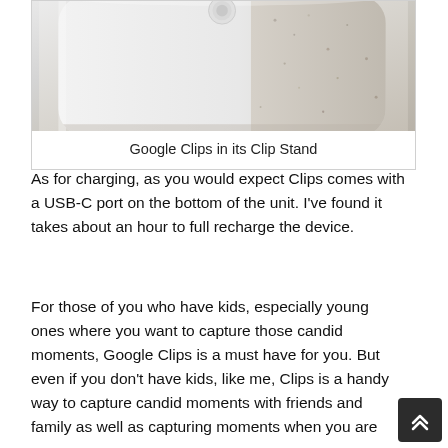[Figure (photo): Close-up photo of Google Clips camera device in its Clip Stand, showing white rounded plastic body with speckled beige/stone texture on the right side, photographed from an angle on a light background.]
Google Clips in its Clip Stand
As for charging, as you would expect Clips comes with a USB-C port on the bottom of the unit.  I've found it takes about an hour to full recharge the device.
For those of you who have kids, especially young ones where you want to capture those candid moments, Google Clips is a must have for you.  But even if you don't have kids, like me, Clips is a handy way to capture candid moments with friends and family as well as capturing moments when you are